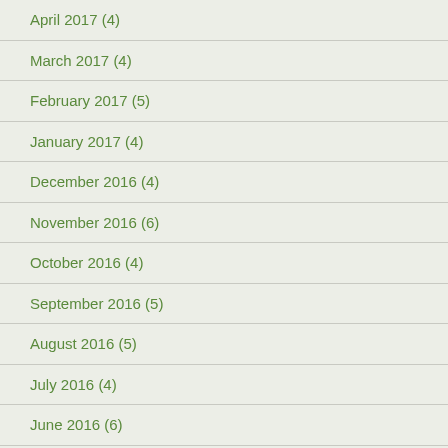April 2017 (4)
March 2017 (4)
February 2017 (5)
January 2017 (4)
December 2016 (4)
November 2016 (6)
October 2016 (4)
September 2016 (5)
August 2016 (5)
July 2016 (4)
June 2016 (6)
May 2016 (2)
April 2016 (6)
March 2016 (5)
February 2016 (4)